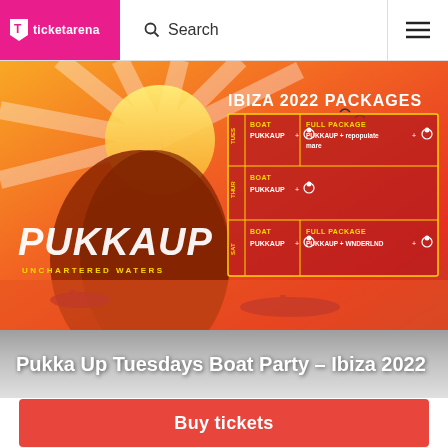ticketarena | Search
[Figure (illustration): Pukka Up Ibiza 2022 Packages promotional banner with orange/red sunset background, rock formation, boats, and packages grid showing TUES/THUR/SAT boat and full package options with PUKKAUP branding]
Pukka Up Tuesdays Boat Party - Ibiza 2022
Buy tickets